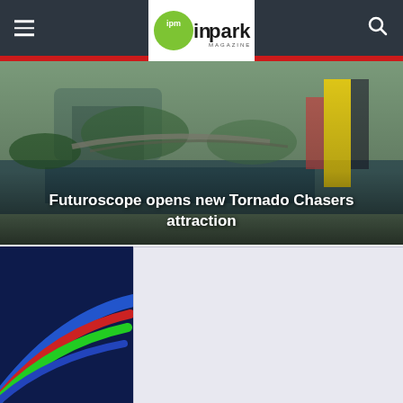ipm inpark MAGAZINE
[Figure (photo): Aerial/architectural view of Futuroscope park with water features, bridges and colorful structures]
Futuroscope opens new Tornado Chasers attraction
[Figure (photo): Dark navy background with colorful arc/rainbow graphic in bottom left corner]
[Figure (photo): Light gray/lavender rectangular content block on right side]